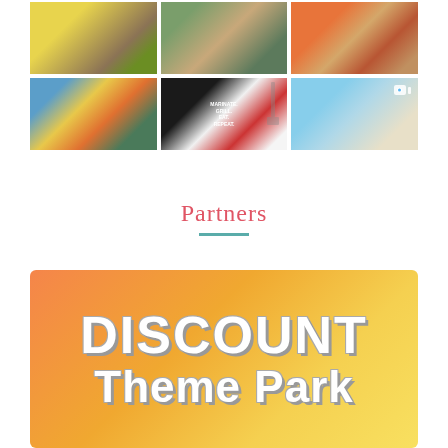[Figure (photo): A 2x3 grid of Instagram-style photos showing: banana/ring object, people at campfire, colorful food/croutons, TV cooking show hosts, black apron with 'Marinate. Grill. Eat. Repeat.' text, and a person walking on beach]
Partners
[Figure (infographic): Banner with orange-to-yellow gradient background showing large bold white text 'DISCOUNT Theme Park' with gray drop shadow]